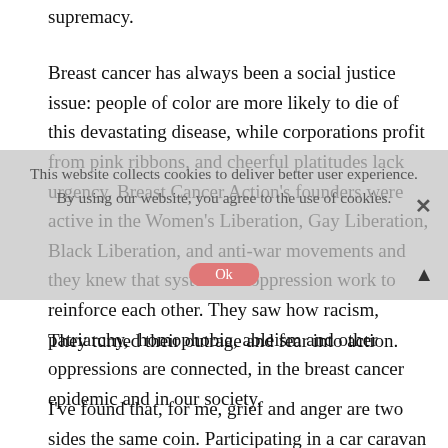supremacy.
Breast cancer has always been a social justice issue: people of color are more likely to die of this devastating disease, while corporations profit from pink ribbons, and cheerful platitudes lack urgency. Breast Cancer Action's founders were active in the Women's Liberation, Gay Liberation, Black Liberation, and anti-war movements and they knew that systems of oppression work to reinforce each other. They saw how racism, patriarchy, homophobia, ableism and other oppressions are connected, in the breast cancer epidemic and in our society.
They turned their outrage and fear into action.
I've found that, for me, grief and anger are two sides the same coin. Participating in a car caravan protest